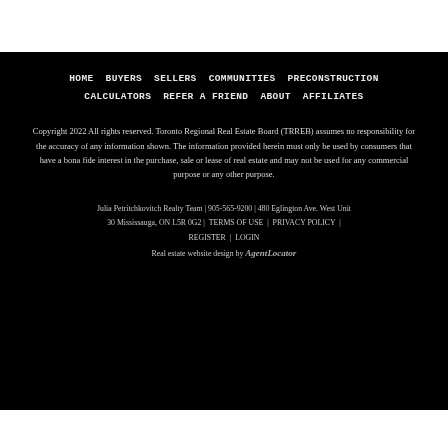HOME   BUYERS   SELLERS   COMMUNITIES   PRECONSTRUCTION   CALCULATORS   REFER A FRIEND   ABOUT   AFFILIATES
Copyright 2022 All rights reserved. Toronto Regional Real Estate Board (TRREB) assumes no responsibility for the accuracy of any information shown. The information provided herein must only be used by consumers that have a bona fide interest in the purchase, sale or lease of real estate and may not be used for any commercial purpose or any other purpose.
Julia Petritchkovitch Realty Team | 905-565-9200 | 480 Eglington Ave. West Unit 30 Mississauga, ON L5R 0G2 |  TERMS OF USE  |  PRIVACY POLICY  |  REGISTER  |  LOGIN
Real estate website design by AgentLocator